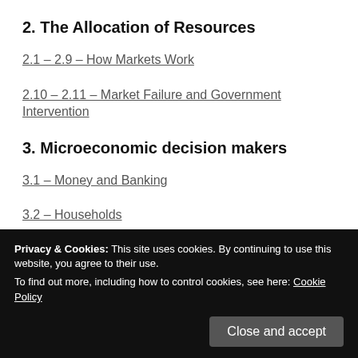2. The Allocation of Resources
2.1 – 2.9 – How Markets Work
2.10 – 2.11 – Market Failure and Government Intervention
3. Microeconomic decision makers
3.1 – Money and Banking
3.2 – Households
Privacy & Cookies: This site uses cookies. By continuing to use this website, you agree to their use.
To find out more, including how to control cookies, see here: Cookie Policy
3.5 – Firms